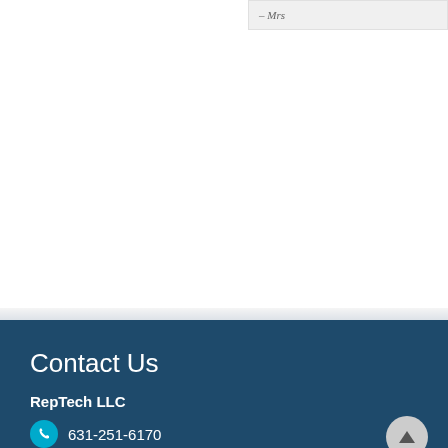– Mrs
Contact Us
RepTech LLC
631-251-6170